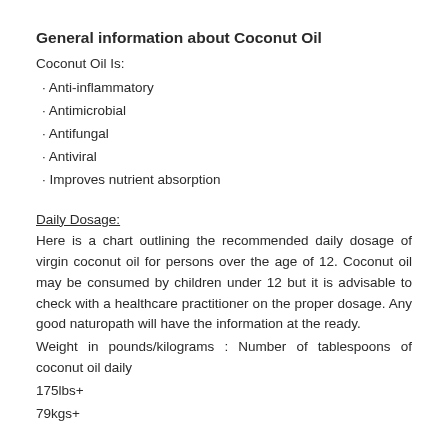General information about Coconut Oil
Coconut Oil Is:
· Anti-inflammatory
· Antimicrobial
· Antifungal
· Antiviral
· Improves nutrient absorption
Daily Dosage:
Here is a chart outlining the recommended daily dosage of virgin coconut oil for persons over the age of 12. Coconut oil may be consumed by children under 12 but it is advisable to check with a healthcare practitioner on the proper dosage. Any good naturopath will have the information at the ready.
Weight in pounds/kilograms : Number of tablespoons of coconut oil daily
175lbs+
79kgs+